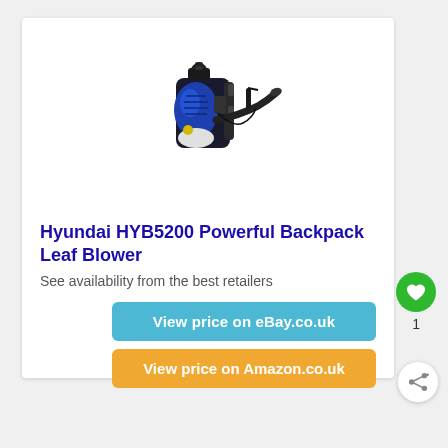[Figure (photo): Hyundai HYB5200 backpack leaf blower — blue and black gas-powered unit with shoulder straps, blower tube, and handle]
Hyundai HYB5200 Powerful Backpack Leaf Blower
See availability from the best retailers
View price on eBay.co.uk
View price on Amazon.co.uk